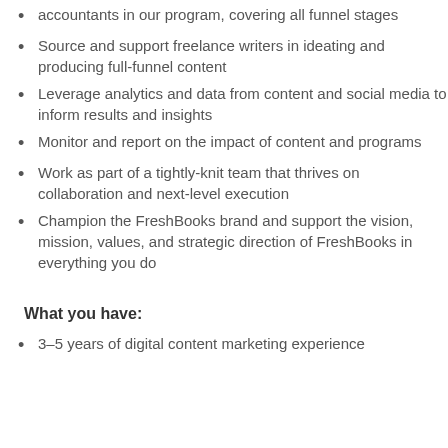accountants in our program, covering all funnel stages
Source and support freelance writers in ideating and producing full-funnel content
Leverage analytics and data from content and social media to inform results and insights
Monitor and report on the impact of content and programs
Work as part of a tightly-knit team that thrives on collaboration and next-level execution
Champion the FreshBooks brand and support the vision, mission, values, and strategic direction of FreshBooks in everything you do
What you have:
3–5 years of digital content marketing experience